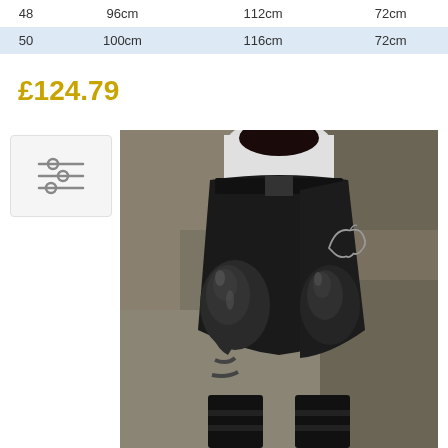|  |  |  |  |
| --- | --- | --- | --- |
| 48 | 96cm | 112cm | 72cm |
| 50 | 100cm | 116cm | 72cm |
£124.79
[Figure (other): Filter/settings icon button with three horizontal slider lines]
[Figure (photo): Back view of a model wearing black equestrian riding breeches with glossy leather-look knee patches and a horse logo, paired with black riding boots and a white shirt]